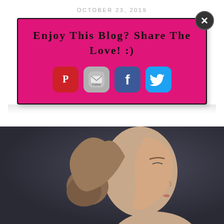OCTOBER 23, 2019
[Figure (infographic): Pink popup box with title 'Enjoy This Blog? Share The Love! :)' and social media icons for Pinterest, Email/Follow, Facebook, and Twitter, with a close button in the top right corner]
[Figure (photo): Side profile photo of a young woman with her hair up in a bun, eyes closed, against a dark grey background]